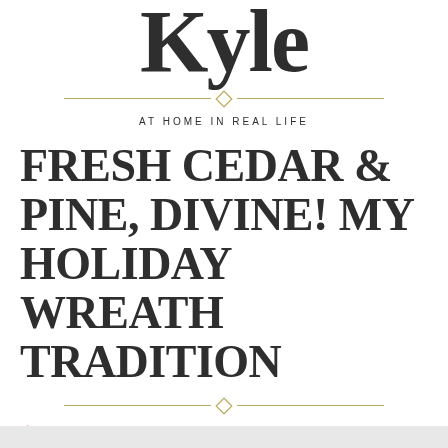Kyle
AT HOME IN REAL LIFE
FRESH CEDAR & PINE, DIVINE! MY HOLIDAY WREATH TRADITION
maureenkyle
DIY, Dwelling & Digs, Self & Wellness
Leave a comment